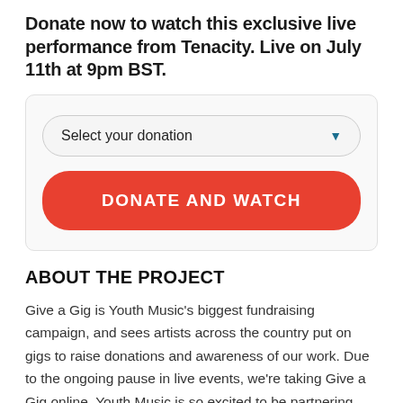Donate now to watch this exclusive live performance from Tenacity. Live on July 11th at 9pm BST.
[Figure (screenshot): A donation widget card containing a 'Select your donation' dropdown and a red 'DONATE AND WATCH' button.]
ABOUT THE PROJECT
Give a Gig is Youth Music's biggest fundraising campaign, and sees artists across the country put on gigs to raise donations and awareness of our work. Due to the ongoing pause in live events, we're taking Give a Gig online. Youth Music is so excited to be partnering with Success Express and Gotobeat to host this new festival and to